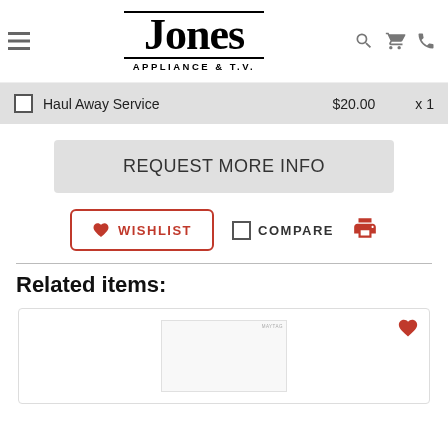Jones Appliance & T.V. — navigation header with hamburger menu, search, cart, and phone icons
Haul Away Service  $20.00  x 1
REQUEST MORE INFO
WISHLIST  COMPARE  [print icon]
Related items:
[Figure (photo): White appliance product card with a heart/wishlist icon in the top right corner]